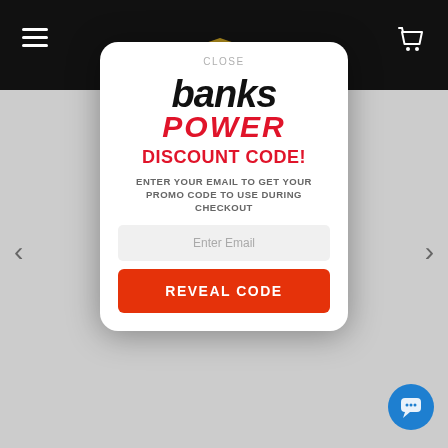[Figure (screenshot): Banks Power website screenshot with dark navigation bar, hamburger menu, cart icon, and left/right navigation arrows]
[Figure (logo): Banks Power logo: 'banks' in bold black italic text and 'POWER' in bold red italic text]
DISCOUNT CODE!
ENTER YOUR EMAIL TO GET YOUR PROMO CODE TO USE DURING CHECKOUT
Enter Email
REVEAL CODE